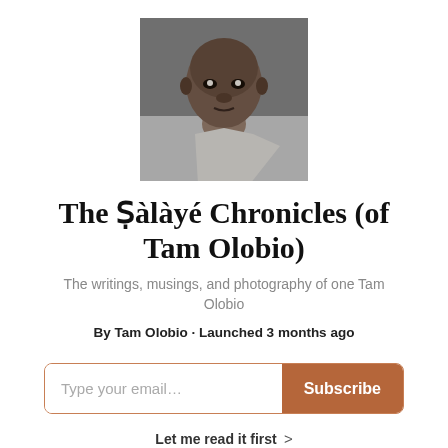[Figure (photo): Black and white close-up portrait photo of a man looking directly at the camera, wearing a light-colored shirt]
The Ṣàlàyé Chronicles (of Tam Olobio)
The writings, musings, and photography of one Tam Olobio
By Tam Olobio · Launched 3 months ago
Type your email…   Subscribe
Let me read it first  >